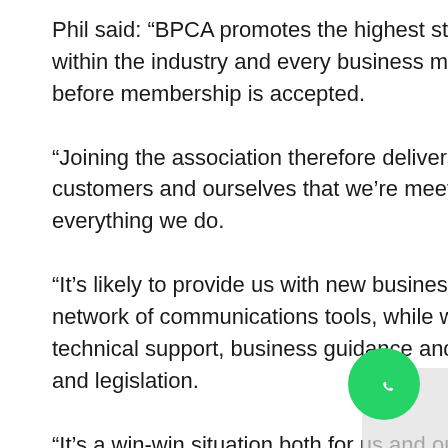Phil said: “BPCA promotes the highest standards of professionalism within the industry and every business must prove its competence before membership is accepted.
“Joining the association therefore delivers an assurance, both to customers and ourselves that we’re meeting high standards in everything we do.
“It’s likely to provide us with new business opportunities along with a network of communications tools, while we’re also entitled to technical support, business guidance and help with documentation and legislation.
“It’s a win-win situation both for us and our clients and we’re delighted to be on
[Figure (other): WhatsApp contact button (green circular icon with phone/chat symbol) in the bottom right corner]